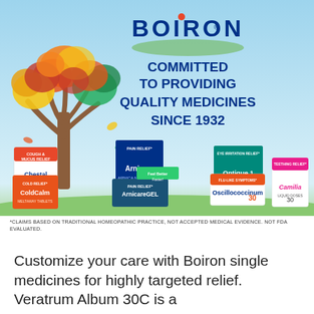[Figure (illustration): Boiron advertisement showing a colorful autumn tree on the left, the Boiron logo with red dot on the I, tagline 'COMMITTED TO PROVIDING QUALITY MEDICINES SINCE 1932', and several Boiron product boxes (Chestal Honey, Arnicare, Optique 1, ColdCalm, Arnicare Gel, Oscillococcinum, Camilia) arranged at the bottom.]
*CLAIMS BASED ON TRADITIONAL HOMEOPATHIC PRACTICE, NOT ACCEPTED MEDICAL EVIDENCE. NOT FDA EVALUATED.
Customize your care with Boiron single medicines for highly targeted relief. Veratrum Album 30C is a